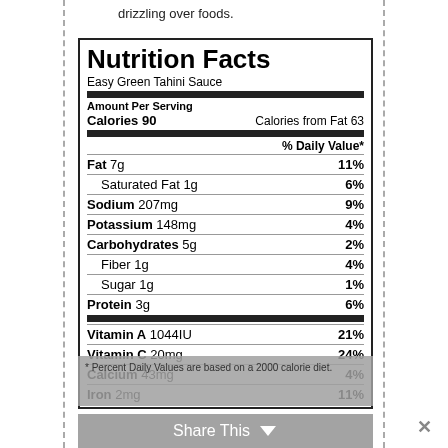drizzling over foods.
| Nutrient | Amount | % Daily Value |
| --- | --- | --- |
| Calories | 90 |  |
| Calories from Fat | 63 |  |
| Fat | 7g | 11% |
| Saturated Fat | 1g | 6% |
| Sodium | 207mg | 9% |
| Potassium | 148mg | 4% |
| Carbohydrates | 5g | 2% |
| Fiber | 1g | 4% |
| Sugar | 1g | 1% |
| Protein | 3g | 6% |
| Vitamin A | 1044IU | 21% |
| Vitamin C | 20mg | 24% |
| Calcium | 43mg | 4% |
| Iron | 2mg | 11% |
* Percent Daily Values are based on a 2000 calorie diet.